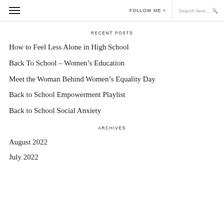≡  FOLLOW ME +  Search here...
RECENT POSTS
How to Feel Less Alone in High School
Back To School – Women's Education
Meet the Woman Behind Women's Equality Day
Back to School Empowerment Playlist
Back to School Social Anxiety
ARCHIVES
August 2022
July 2022